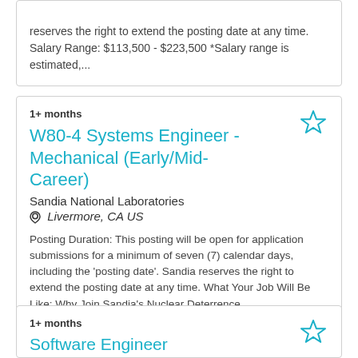reserves the right to extend the posting date at any time. Salary Range: $113,500 - $223,500 *Salary range is estimated,...
1+ months
W80-4 Systems Engineer - Mechanical (Early/Mid-Career)
Sandia National Laboratories
Livermore, CA US
Posting Duration: This posting will be open for application submissions for a minimum of seven (7) calendar days, including the 'posting date'. Sandia reserves the right to extend the posting date at any time. What Your Job Will Be Like: Why Join Sandia's Nuclear Deterrence...
1+ months
Software Engineer (Early/mid-career)